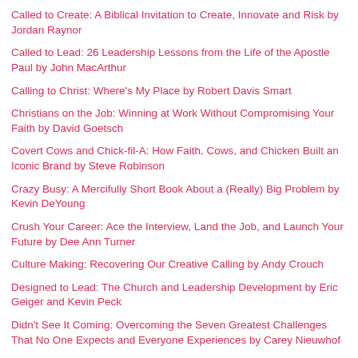Called to Create: A Biblical Invitation to Create, Innovate and Risk by Jordan Raynor
Called to Lead: 26 Leadership Lessons from the Life of the Apostle Paul by John MacArthur
Calling to Christ: Where's My Place by Robert Davis Smart
Christians on the Job: Winning at Work Without Compromising Your Faith by David Goetsch
Covert Cows and Chick-fil-A: How Faith, Cows, and Chicken Built an Iconic Brand by Steve Robinson
Crazy Busy: A Mercifully Short Book About a (Really) Big Problem by Kevin DeYoung
Crush Your Career: Ace the Interview, Land the Job, and Launch Your Future by Dee Ann Turner
Culture Making: Recovering Our Creative Calling by Andy Crouch
Designed to Lead: The Church and Leadership Development by Eric Geiger and Kevin Peck
Didn't See It Coming: Overcoming the Seven Greatest Challenges That No One Expects and Everyone Experiences by Carey Nieuwhof
Discipleship with Monday in Mind: How Churches Across the